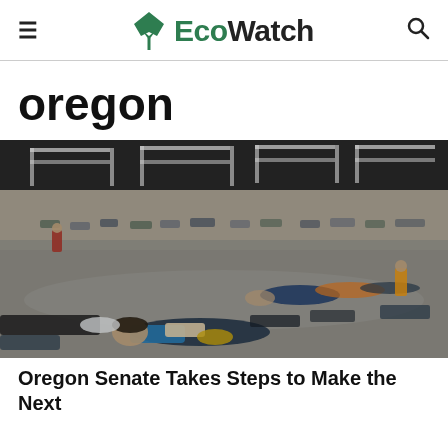≡  EcoWatch  🔍
oregon
[Figure (photo): Large indoor cooling shelter with people lying on cots and sleeping bags on a convention center floor, with fluorescent ceiling lights visible above.]
Oregon Senate Takes Steps to Make the Next